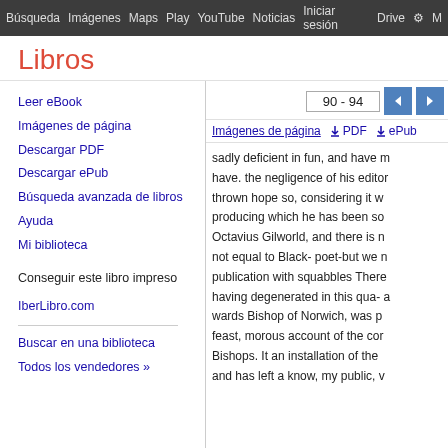Búsqueda  Imágenes  Maps  Play  YouTube  Noticias  Iniciar sesión  Drive  ⚙  M
Libros
Leer eBook
Imágenes de página
Descargar PDF
Descargar ePub
Búsqueda avanzada de libros
Ayuda
Mi biblioteca
Conseguir este libro impreso
IberLibro.com
Buscar en una biblioteca
Todos los vendedores »
90 - 94
Imágenes de página   ↓ PDF   ↓ ePub
sadly deficient in fun, and have m have. the negligence of his editor thrown hope so, considering it w producing which he has been so Octavius Gilworld, and there is n not equal to Black- poet-but we n publication with squabbles There having degenerated in this qua-a wards Bishop of Norwich, was p feast, morous account of the cor Bishops. It an installation of the and has left a know, my public, v
epistle to the Lord Mordaunt. Ou what tisfactorily illustrated the g proved made in royal feasts and